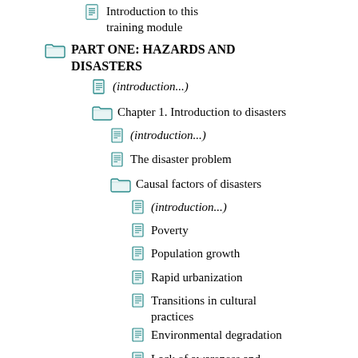Introduction to this training module
PART ONE: HAZARDS AND DISASTERS
(introduction...)
Chapter 1. Introduction to disasters
(introduction...)
The disaster problem
Causal factors of disasters
(introduction...)
Poverty
Population growth
Rapid urbanization
Transitions in cultural practices
Environmental degradation
Lack of awareness and information
War and civil strife